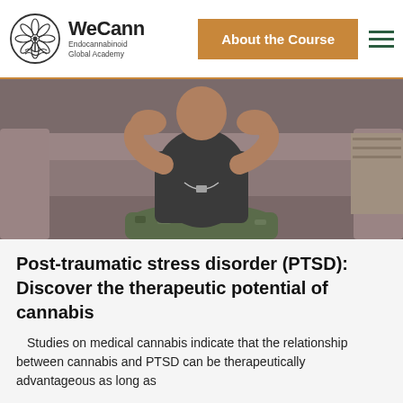[Figure (logo): WeCann Endocannabinoid Global Academy logo with circular cannabis leaf emblem]
About the Course
[Figure (photo): Person in military camouflage pants sitting on a couch with head in hands, suggesting distress or PTSD]
Post-traumatic stress disorder (PTSD): Discover the therapeutic potential of cannabis
Studies on medical cannabis indicate that the relationship between cannabis and PTSD can be therapeutically advantageous as long as